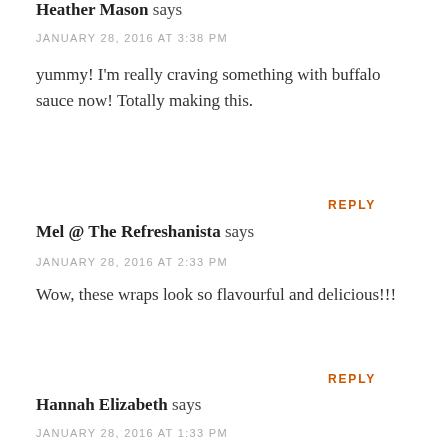Heather Mason says
JANUARY 28, 2016 AT 3:38 PM
yummy! I'm really craving something with buffalo sauce now! Totally making this.
REPLY
Mel @ The Refreshanista says
JANUARY 28, 2016 AT 2:33 PM
Wow, these wraps look so flavourful and delicious!!!
REPLY
Hannah Elizabeth says
JANUARY 28, 2016 AT 1:33 PM
This looks so yummy!! I love all things wraps/sandwich! :) Where do you get your wraps (and would it be...